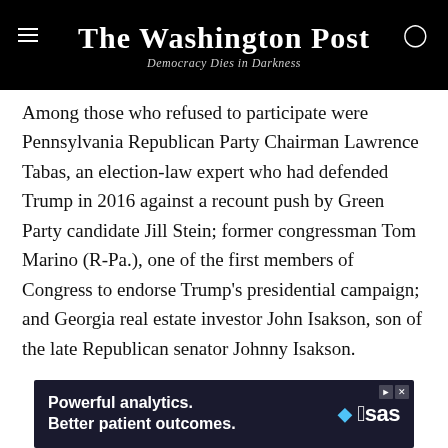The Washington Post — Democracy Dies in Darkness
Among those who refused to participate were Pennsylvania Republican Party Chairman Lawrence Tabas, an election-law expert who had defended Trump in 2016 against a recount push by Green Party candidate Jill Stein; former congressman Tom Marino (R-Pa.), one of the first members of Congress to endorse Trump's presidential campaign; and Georgia real estate investor John Isakson, son of the late Republican senator Johnny Isakson.
The subpoenas seek all documents since Oct. 1, 2020, related to the electoral college vote, as well as any election-related communications with roughly a dozen
[Figure (other): Advertisement banner: 'Powerful analytics. Better patient outcomes.' with SAS logo]